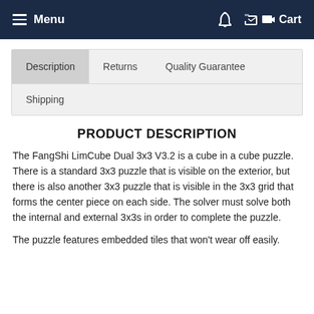Menu  Cart
Description  Returns  Quality Guarantee  Shipping
PRODUCT DESCRIPTION
The FangShi LimCube Dual 3x3 V3.2 is a cube in a cube puzzle. There is a standard 3x3 puzzle that is visible on the exterior, but there is also another 3x3 puzzle that is visible in the 3x3 grid that forms the center piece on each side. The solver must solve both the internal and external 3x3s in order to complete the puzzle.
The puzzle features embedded tiles that won't wear off easily.